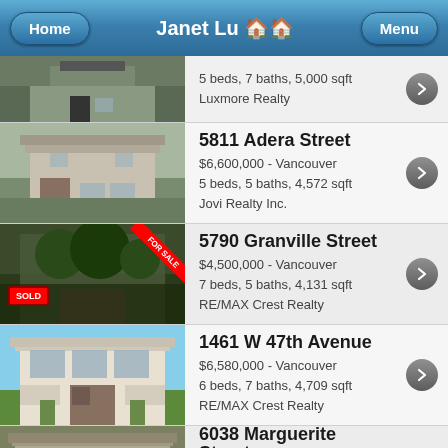Janet Lu 🏠🏠
5 beds, 7 baths, 5,000 sqft
Luxmore Realty
5811 Adera Street
$6,600,000 - Vancouver
5 beds, 5 baths, 4,572 sqft
Jovi Realty Inc.
5790 Granville Street
$4,500,000 - Vancouver
7 beds, 5 baths, 4,131 sqft
RE/MAX Crest Realty
1461 W 47th Avenue
$6,580,000 - Vancouver
6 beds, 7 baths, 4,709 sqft
RE/MAX Crest Realty
6038 Marguerite Street
$11,980,000 - Vancouver
6 beds, 7 baths, 5,818 sqft
Royal Pacific Realty Corp.
5770 Granville Street
$4,100,000 - Vancouver
4 beds, 3 baths, 3,120 sqft